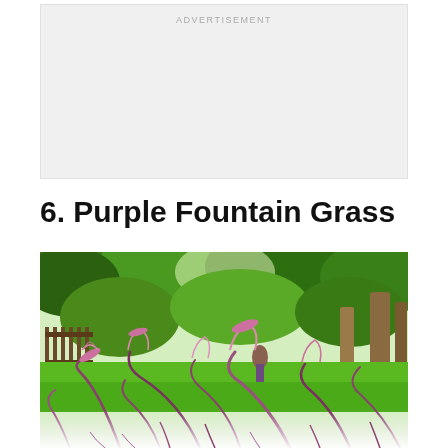[Figure (other): Advertisement placeholder box with light gray background]
6. Purple Fountain Grass
[Figure (photo): Photograph of Purple Fountain Grass in foreground with lush green park/garden in background featuring trees, lawn, and dappled sunlight. The purple-pink arching seed heads of fountain grass dominate the lower portion of the image.]